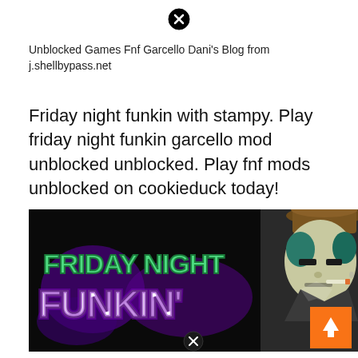[Figure (other): Close button (X icon) at top center]
Unblocked Games Fnf Garcello Dani's Blog from j.shellbypass.net
Friday night funkin with stampy. Play friday night funkin garcello mod unblocked unblocked. Play fnf mods unblocked on cookieduck today!
[Figure (screenshot): Friday Night Funkin game screenshot showing the green graffiti-style 'Friday Night Funkin' logo on a black background with a cartoon character wearing a brown hat smoking a cigarette, with an orange scroll-to-top button overlay and a close (X) button at the bottom center]